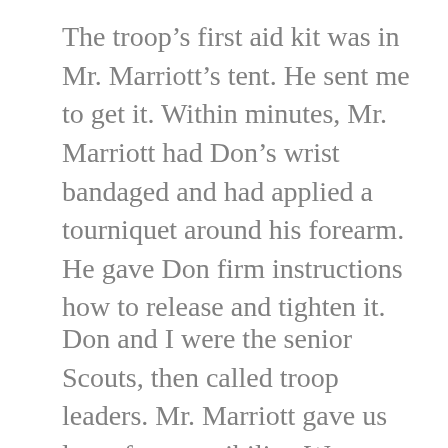The troop’s first aid kit was in Mr. Marriott’s tent. He sent me to get it. Within minutes, Mr. Marriott had Don’s wrist bandaged and had applied a tourniquet around his forearm. He gave Don firm instructions how to release and tighten it.
Don and I were the senior Scouts, then called troop leaders. Mr. Marriott gave us lots of responsibility. We were supervising a